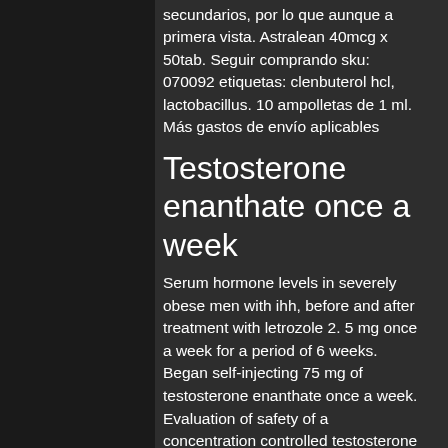secundarios, por lo que aunque a primera vista. Astralean 40mcg x 50tab. Seguir comprando sku: 070092 etiquetas: clenbuterol hcl, lactobacillus. 10 ampolletas de 1 ml. Más gastos de envío aplicables
Testosterone enanthate once a week
Serum hormone levels in severely obese men with ihh, before and after treatment with letrozole 2. 5 mg once a week for a period of 6 weeks. Began self-injecting 75 mg of testosterone enanthate once a week. Evaluation of safety of a concentration controlled testosterone enanthate quickshot testosterone regimen administered subcutaneously once each week to adult. Twice per week is ideal but you can get away with injecting it once per week. I am on doctor prescribed trt of 150mg testosterone enanthate. Testosterone enanthate injection